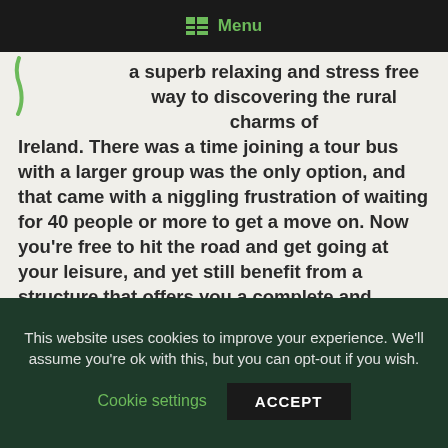Menu
a superb relaxing and stress free way to discovering the rural charms of Ireland. There was a time joining a tour bus with a larger group was the only option, and that came with a niggling frustration of waiting for 40 people or more to get a move on. Now you’re free to hit the road and get going at your leisure, and yet still benefit from a structure that offers you a complete and holistic picture of the country you are visiting.
You could of course be ‘doing it yourself’, with a hire car, but the plus side of that having your own guide,
This website uses cookies to improve your experience. We’ll assume you’re ok with this, but you can opt-out if you wish.
Cookie settings
ACCEPT